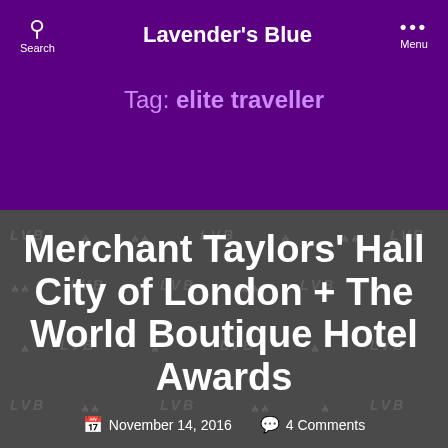Lavender's Blue
Tag: elite traveller
Merchant Taylors' Hall City of London + The World Boutique Hotel Awards
November 14, 2016   4 Comments